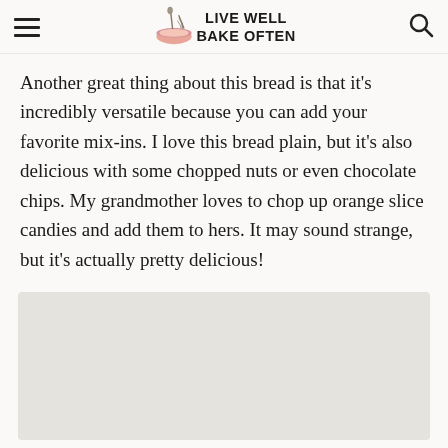LIVE WELL BAKE OFTEN
Another great thing about this bread is that it's incredibly versatile because you can add your favorite mix-ins. I love this bread plain, but it's also delicious with some chopped nuts or even chocolate chips. My grandmother loves to chop up orange slice candies and add them to hers. It may sound strange, but it's actually pretty delicious!
[Figure (photo): Placeholder image area at bottom of page]